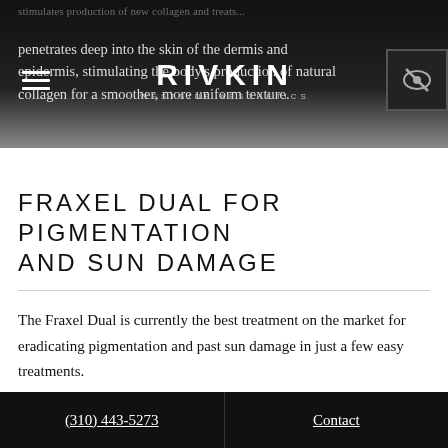RIVKIN WESTSIDE AESTHETICS
penetrates deep into the skin of the dermis and epidermis, stimulating the body's production of natural collagen for a smoother, more uniform texture.
FRAXEL DUAL FOR PIGMENTATION AND SUN DAMAGE
The Fraxel Dual is currently the best treatment on the market for eradicating pigmentation and past sun damage in just a few easy treatments.
(310) 443-5273    Contact